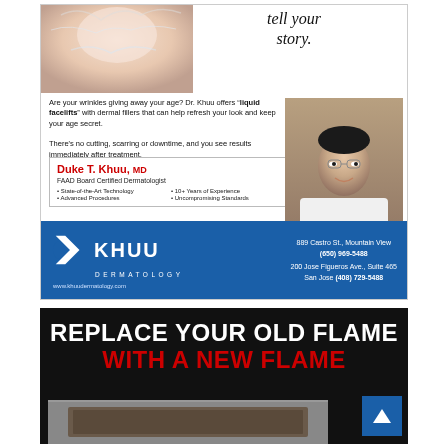[Figure (photo): Top-left photo showing a person's face/skin with water splash effect, used in a dermatology advertisement]
tell your story.
Are your wrinkles giving away your age? Dr. Khuu offers "liquid facelifts" with dermal fillers that can help refresh your look and keep your age secret. There's no cutting, scarring or downtime, and you see results immediately after treatment.
[Figure (photo): Photo of Dr. Duke T. Khuu, MD, a dermatologist wearing a white coat and bow tie, smiling]
Duke T. Khuu, MD
FAAD Board Certified Dermatologist
• State-of-the-Art Technology  • 10+ Years of Experience
• Advanced Procedures  • Uncompromising Standards
[Figure (logo): Khuu Dermatology logo with stylized K icon in white on blue background]
889 Castro St., Mountain View
(650) 969-5488
200 Jose Figueros Ave., Suite 465
San Jose (408) 729-5488
www.khuudermatology.com
REPLACE YOUR OLD FLAME
WITH A NEW FLAME
[Figure (photo): Bottom portion of a fireplace/flame advertisement showing a hearth or fireplace product]